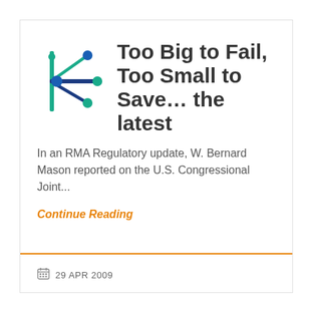[Figure (logo): Organization logo: network/graph icon with teal and blue nodes and lines, resembling a stylized letter K]
Too Big to Fail, Too Small to Save... the latest
In an RMA Regulatory update, W. Bernard Mason reported on the U.S. Congressional Joint...
Continue Reading
29 APR 2009